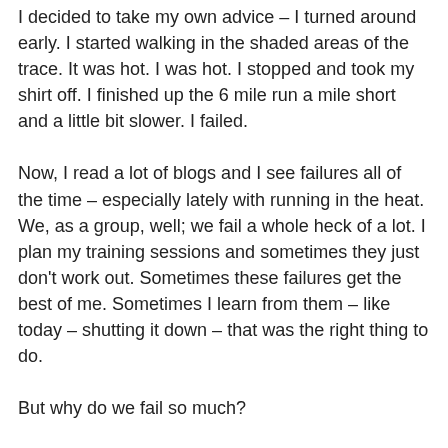I decided to take my own advice – I turned around early. I started walking in the shaded areas of the trace. It was hot. I was hot. I stopped and took my shirt off. I finished up the 6 mile run a mile short and a little bit slower. I failed.
Now, I read a lot of blogs and I see failures all of the time – especially lately with running in the heat. We, as a group, well; we fail a whole heck of a lot. I plan my training sessions and sometimes they just don't work out. Sometimes these failures get the best of me. Sometimes I learn from them – like today – shutting it down – that was the right thing to do.
But why do we fail so much?
I think failure just comes with the territory. We fail because we are not afraid. We are not afraid to take a chance, to push our boundaries, to do things that we never thought we could. In our failures we are defined. Successful people look at failure as results and outcomes while unsuccessful people look at failure as permanent and personal. We grow from our failures.